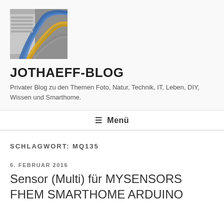[Figure (photo): Photo of colorful network/data cables (blue, yellow, gray) arranged in a bundle, attached to what appears to be a network patch panel or server equipment.]
JOTHAEFF-BLOG
Privater Blog zu den Themen Foto, Natur, Technik, IT, Leben, DIY, Wissen und Smarthome.
≡ Menü
SCHLAGWORT: MQ135
6. FEBRUAR 2016
Sensor (Multi) für MYSENSORS FHEM SMARTHOME ARDUINO